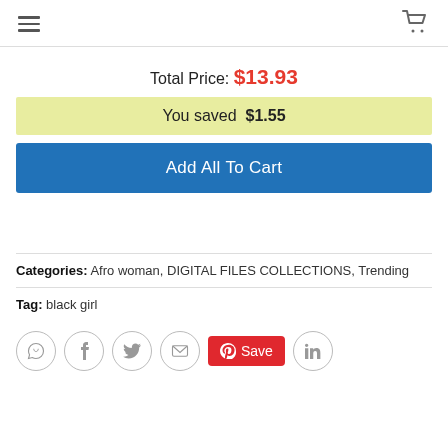Navigation bar with hamburger menu and cart icon
Total Price: $13.93
You saved $1.55
Add All To Cart
Categories: Afro woman, DIGITAL FILES COLLECTIONS, Trending
Tag: black girl
[Figure (other): Social sharing buttons: WhatsApp, Facebook, Twitter, Email, Pinterest Save, LinkedIn]